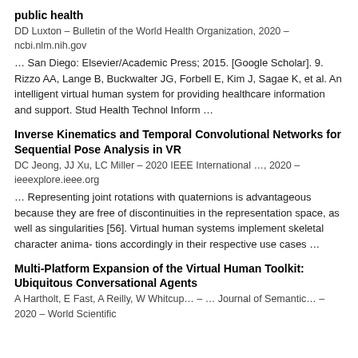public health
DD Luxton – Bulletin of the World Health Organization, 2020 – ncbi.nlm.nih.gov
… San Diego: Elsevier/Academic Press; 2015. [Google Scholar]. 9. Rizzo AA, Lange B, Buckwalter JG, Forbell E, Kim J, Sagae K, et al. An intelligent virtual human system for providing healthcare information and support. Stud Health Technol Inform …
Inverse Kinematics and Temporal Convolutional Networks for Sequential Pose Analysis in VR
DC Jeong, JJ Xu, LC Miller – 2020 IEEE International …, 2020 – ieeexplore.ieee.org
… Representing joint rotations with quaternions is advantageous because they are free of discontinuities in the representation space, as well as singularities [56]. Virtual human systems implement skeletal character anima- tions accordingly in their respective use cases …
Multi-Platform Expansion of the Virtual Human Toolkit: Ubiquitous Conversational Agents
A Hartholt, E Fast, A Reilly, W Whitcup… – … Journal of Semantic… – 2020 – World Scientific